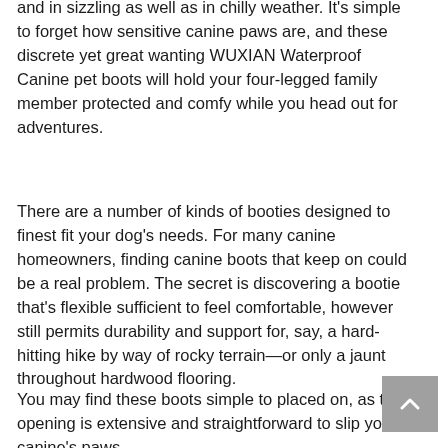and in sizzling as well as in chilly weather. It's simple to forget how sensitive canine paws are, and these discrete yet great wanting WUXIAN Waterproof Canine pet boots will hold your four-legged family member protected and comfy while you head out for adventures.
There are a number of kinds of booties designed to finest fit your dog's needs. For many canine homeowners, finding canine boots that keep on could be a real problem. The secret is discovering a bootie that's flexible sufficient to feel comfortable, however still permits durability and support for, say, a hard-hitting hike by way of rocky terrain—or only a jaunt throughout hardwood flooring.
You may find these boots simple to placed on, as the opening is extensive and straightforward to slip your canine's paws